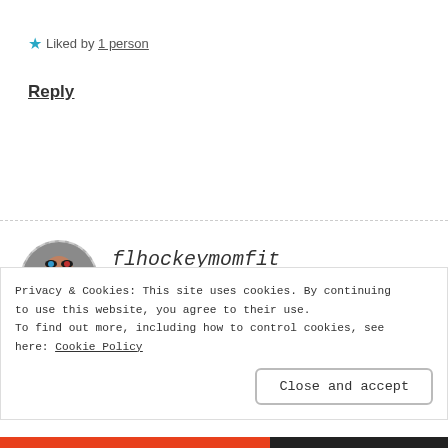★ Liked by 1 person
Reply
flhockeymomfit
NOVEMBER 19, 2017 AT 12:25 PM
Privacy & Cookies: This site uses cookies. By continuing to use this website, you agree to their use. To find out more, including how to control cookies, see here: Cookie Policy
Close and accept